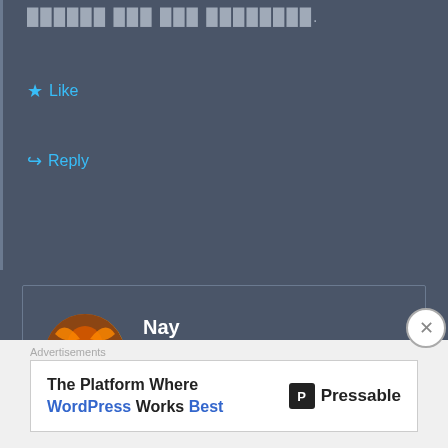██████ ███ ███ ████████.
★ Like
↪ Reply
Nay
August 29, 2019 at 4:06 pm
Thank you for chapter 😜😜😜😜
★ Like
↪ Reply
Advertisements
The Platform Where WordPress Works Best — Pressable